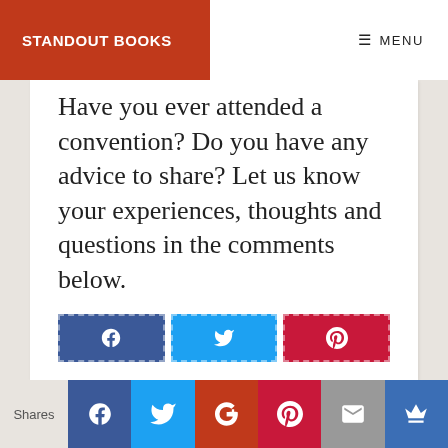STANDOUT BOOKS
Have you ever attended a convention? Do you have any advice to share? Let us know your experiences, thoughts and questions in the comments below.
[Figure (infographic): Three social share buttons: Facebook (blue), Twitter (light blue), Pinterest (red), each with their respective icons]
Shares | Facebook | Twitter | Google+ | Pinterest | Email | Crown